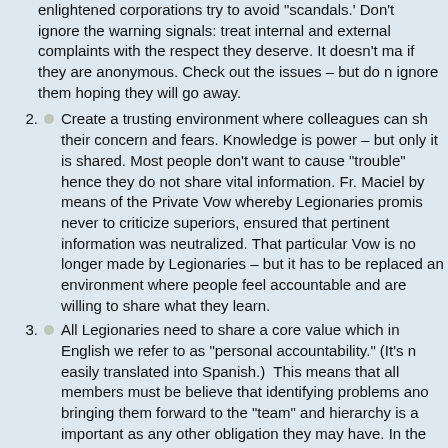enlightened corporations try to avoid “scandals.’ Don’t ignore the warning signals: treat internal and external complaints with the respect they deserve. It doesn’t matter if they are anonymous. Check out the issues – but do not ignore them hoping they will go away.
Create a trusting environment where colleagues can share their concern and fears. Knowledge is power – but only if it is shared. Most people don’t want to cause “trouble” hence they do not share vital information. Fr. Maciel by means of the Private Vow whereby Legionaries promise never to criticize superiors, ensured that pertinent information was neutralized. That particular Vow is no longer made by Legionaries – but it has to be replaced by an environment where people feel accountable and are willing to share what they learn.
All Legionaries need to share a core value which in English we refer to as “personal accountability.” (It’s not easily translated into Spanish.) This means that all members must be believe that identifying problems and bringing them forward to the “team” and hierarchy is as important as any other obligation they may have. In the business world this relates to everything from quality control, to safety procedures, to financial processes and customer service. The same applies in a Religious Congregation. Members need to be sure their concerns